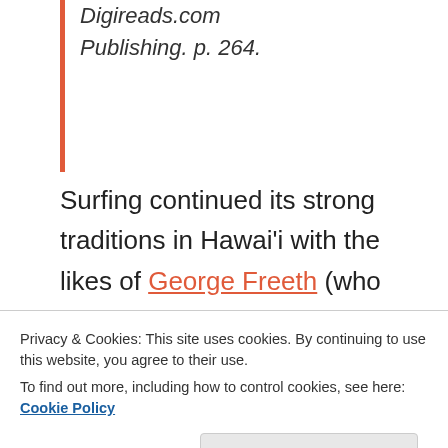Digireads.com Publishing. p. 264.
Surfing continued its strong traditions in Hawai'i with the likes of George Freeth (who was of Hawai'i descent) and Duke Kahanamoku, who won 5 Olympic gold medals for the US in swimming.
Privacy & Cookies: This site uses cookies. By continuing to use this website, you agree to their use.
To find out more, including how to control cookies, see here: Cookie Policy
a “heathen sport” but Maser